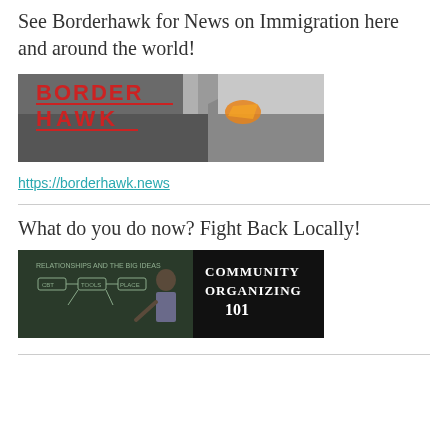See Borderhawk for News on Immigration here and around the world!
[Figure (photo): Borderhawk banner image showing a border wall in a desert landscape with a bird/hawk graphic and red text reading 'BORDER HAWK']
https://borderhawk.news
What do you do now? Fight Back Locally!
[Figure (photo): Community Organizing 101 image showing a man at a chalkboard with diagrams and white text reading 'Community Organizing 101']